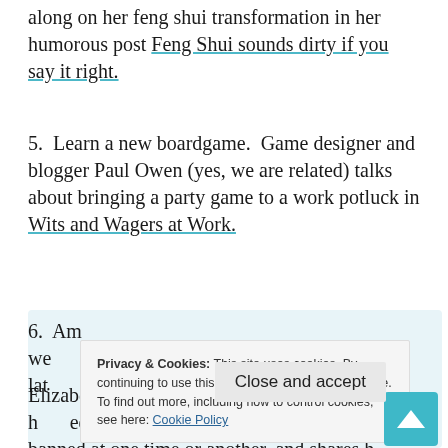along on her feng shui transformation in her humorous post Feng Shui sounds dirty if you say it right.
5.  Learn a new boardgame.  Game designer and blogger Paul Owen (yes, we are related) talks about bringing a party game to a work potluck in Wits and Wagers at Work.
6.  Am... we... lat... Elizabeth Craig gives us a list of books that h... een banned at one time or another, and shares h... thoughts about banning any book.
Privacy & Cookies: This site uses cookies. By continuing to use this website, you agree to their use. To find out more, including how to control cookies, see here: Cookie Policy